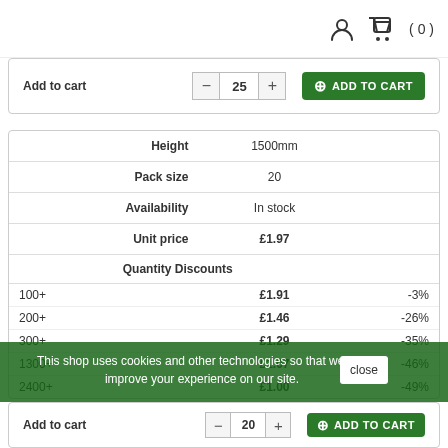[Figure (screenshot): Header bar with user account icon and shopping cart icon showing (0) items]
| Add to cart | — 25 + | ADD TO CART |
| Height | 1500mm |
| --- | --- |
| Pack size | 20 |
| Availability | In stock |
| Unit price | £1.97 |
| Quantity Discounts |  |
| 100+ | £1.91 | -3% |
| 200+ | £1.46 | -26% |
| 300+ | £1.29 | -35% |
| 1300+ | £1.07 | -46% |
| 2400+ | £1.00 | -49% |
This shop uses cookies and other technologies so that we can improve your experience on our site.
| Add to cart | — 20 + | ADD TO CART |